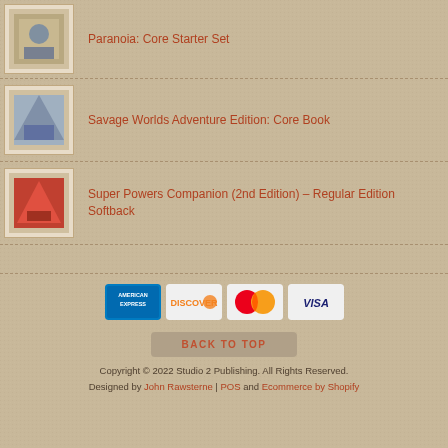Paranoia: Core Starter Set
Savage Worlds Adventure Edition: Core Book
Super Powers Companion (2nd Edition) – Regular Edition Softback
[Figure (other): Payment method logos: American Express, Discover, Mastercard, Visa]
BACK TO TOP
Copyright © 2022 Studio 2 Publishing. All Rights Reserved. Designed by John Rawsterne | POS and Ecommerce by Shopify